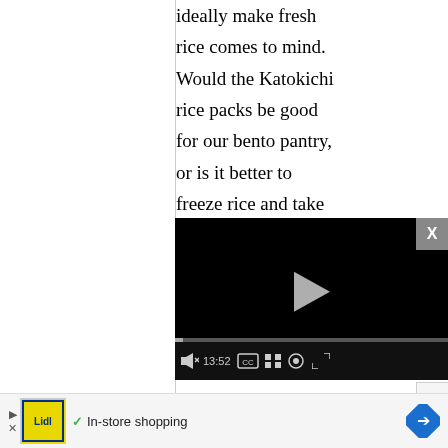ideally make fresh rice comes to mind. Would the Katokichi rice packs be good for our bento pantry, or is it better to freeze rice and take
[Figure (screenshot): Video player overlay with black background, play button, progress bar showing 13:52, and controls for mute, CC, grid, settings, and fullscreen. A close X button appears in top right corner.]
microwaveable kind
[Figure (infographic): Advertisement bar at bottom: Lidl logo with yellow background, checkmark, 'In-store shopping' text, and blue diamond navigation arrow on right.]